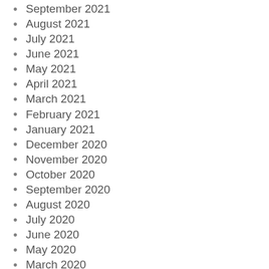September 2021
August 2021
July 2021
June 2021
May 2021
April 2021
March 2021
February 2021
January 2021
December 2020
November 2020
October 2020
September 2020
August 2020
July 2020
June 2020
May 2020
March 2020
February 2020
January 2020
December 2019
November 2019